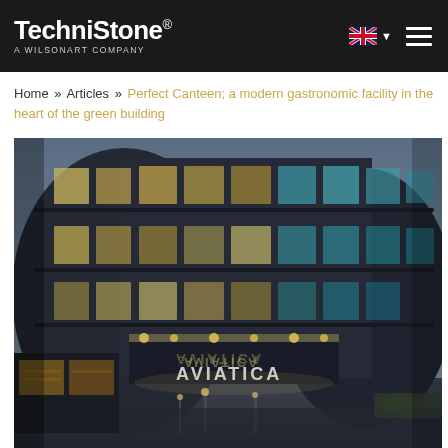TechniStone® A WILSONART COMPANY
Home » Articles » Perfect Canteen; a modern gastronomic facility in the heart of the green building
[Figure (photo): Exterior night/dusk photograph of the Aviatica building — a modern curved multi-storey glass office building with illuminated interiors and signage reading AVIATICA at the entrance canopy.]